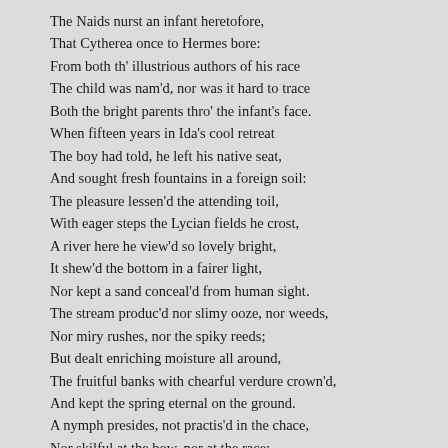The Naids nurst an infant heretofore,
That Cytherea once to Hermes bore:
From both th' illustrious authors of his race
The child was nam'd, nor was it hard to trace
Both the bright parents thro' the infant's face.
When fifteen years in Ida's cool retreat
The boy had told, he left his native seat,
And sought fresh fountains in a foreign soil:
The pleasure lessen'd the attending toil,
With eager steps the Lycian fields he crost,
A river here he view'd so lovely bright,
It shew'd the bottom in a fairer light,
Nor kept a sand conceal'd from human sight.
The stream produc'd nor slimy ooze, nor weeds,
Nor miry rushes, nor the spiky reeds;
But dealt enriching moisture all around,
The fruitful banks with chearful verdure crown'd,
And kept the spring eternal on the ground.
A nymph presides, not practis'd in the chace,
Nor skilful at the bow, nor at the race;
Of all the blue-ey'd daughters of the main,
The only stranger to Diana's train:
Her sisters often, as 'tis said, wou'd cry,
"Fie Salmacis: what, always idle! fie.